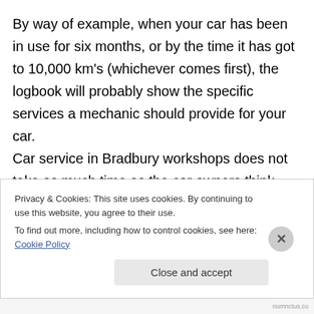By way of example, when your car has been in use for six months, or by the time it has got to 10,000 km's (whichever comes first), the logbook will probably show the specific services a mechanic should provide for your car. Car service in Bradbury workshops does not take as much time as the car owners think. These service providers help you to save
Privacy & Cookies: This site uses cookies. By continuing to use this website, you agree to their use. To find out more, including how to control cookies, see here: Cookie Policy